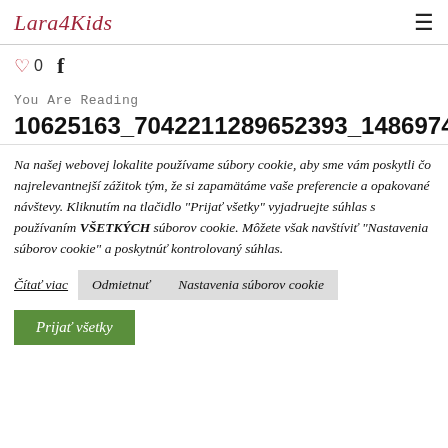Lara4Kids
♡ 0  f
You Are Reading
10625163_7042211289652393_14869741782286...
Na našej webovej lokalite používame súbory cookie, aby sme vám poskytli čo najrelevantnejší zážitok tým, že si zapamätáme vaše preferencie a opakované návštevy. Kliknutím na tlačidlo "Prijať všetky" vyjadruejte súhlas s používaním VŠETKÝCH súborov cookie. Môžete však navštíviť "Nastavenia súborov cookie" a poskytnúť kontrolovaný súhlas.
Čítať viac  Odmietnuť  Nastavenia súborov cookie
Prijať všetky